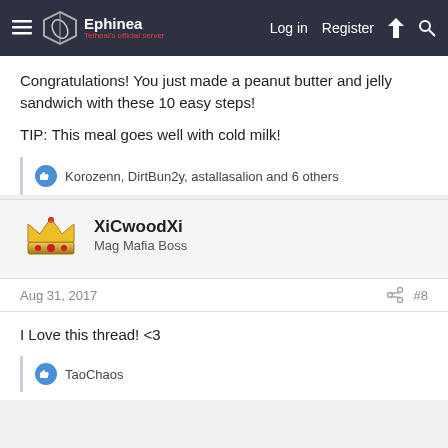Ephinea | Tetheal's official server | Log in | Register
Congratulations! You just made a peanut butter and jelly sandwich with these 10 easy steps!
TIP: This meal goes well with cold milk!
Korozenn, DirtBun2y, astallasalion and 6 others
XiCwoodXi
Mag Mafia Boss
Aug 31, 2017
#8
I Love this thread! <3
TaoChaos